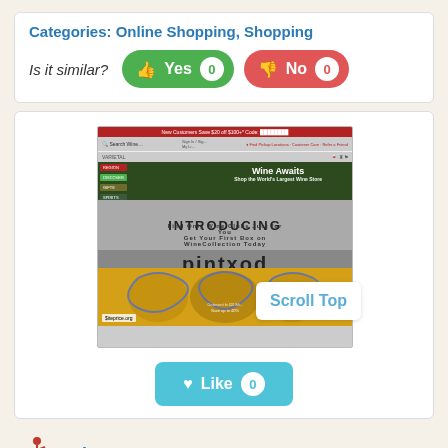Categories: Online Shopping, Shopping
Is it similar? Yes 0  No 0
[Figure (screenshot): Screenshot of wine.com website showing navigation, hero banner 'Wine Awaits - Shop the World's Largest Wine Store', and decorative sections with 'INTRODUCING' text overlay and siteprice.org watermark]
Scroll Top
Like 0
wine.com
wine.com - buy wine online - wine & wine gifts